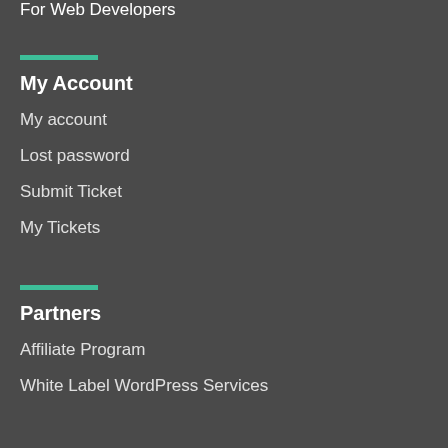For Web Developers
My Account
My account
Lost password
Submit Ticket
My Tickets
Partners
Affiliate Program
White Label WordPress Services